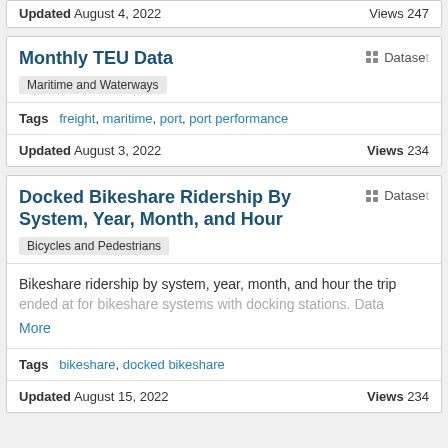Updated August 4, 2022   Views 247
Monthly TEU Data
Dataset
Maritime and Waterways
Tags  freight, maritime, port, port performance
Updated August 3, 2022   Views 234
Docked Bikeshare Ridership By System, Year, Month, and Hour
Dataset
Bicycles and Pedestrians
Bikeshare ridership by system, year, month, and hour the trip ended at for bikeshare systems with docking stations. Data
More
Tags  bikeshare, docked bikeshare
Updated August 15, 2022   Views 234